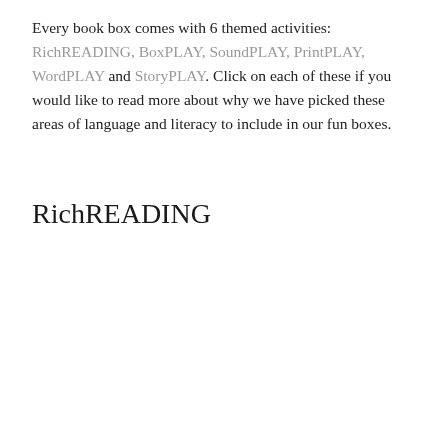Every book box comes with 6 themed activities: RichREADING, BoxPLAY, SoundPLAY, PrintPLAY, WordPLAY and StoryPLAY. Click on each of these if you would like to read more about why we have picked these areas of language and literacy to include in our fun boxes.
RichREADING